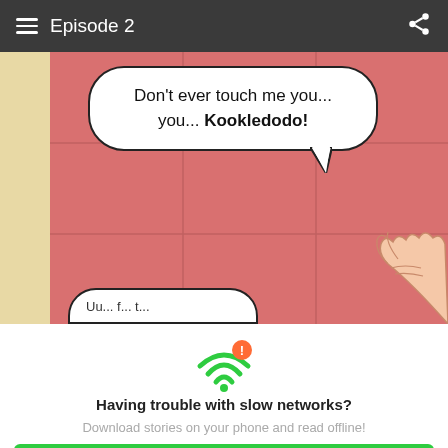Episode 2
[Figure (illustration): Webtoon comic panel with a speech bubble reading 'Don't ever touch me you... you... Kookledodo!' on a salmon/red tiled background, with a partial second speech bubble at the bottom and a hand visible in the lower right. Left strip is cream/yellow colored.]
[Figure (infographic): WiFi icon with an exclamation mark warning indicator in green color]
Having trouble with slow networks?
Download stories on your phone and read offline!
Go to the WEBTOON app